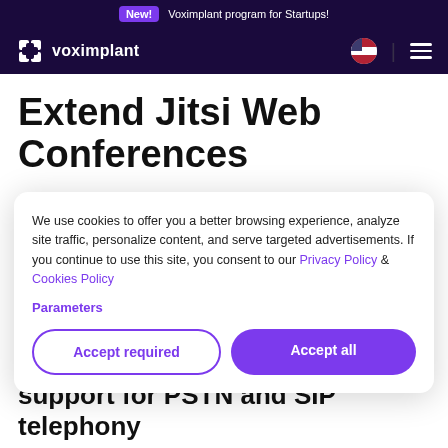New! Voximplant program for Startups!
[Figure (logo): Voximplant logo with puzzle piece icon and wordmark in white on dark purple navigation bar]
Extend Jitsi Web Conferences
Developers install the Jitsi Meet open source
We use cookies to offer you a better browsing experience, analyze site traffic, personalize content, and serve targeted advertisements. If you continue to use this site, you consent to our Privacy Policy & Cookies Policy
Parameters
Accept required
Accept all
support for PSTN and SIP telephony